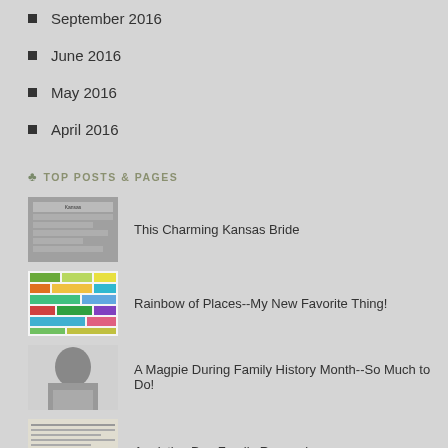September 2016
June 2016
May 2016
April 2016
TOP POSTS & PAGES
[Figure (photo): Thumbnail of newspaper clipping showing a Kansas bride article]
This Charming Kansas Bride
[Figure (photo): Thumbnail of colorful rainbow places chart with green, orange, yellow, teal color blocks]
Rainbow of Places--My New Favorite Thing!
[Figure (photo): Black and white portrait photo thumbnail]
A Magpie During Family History Month--So Much to Do!
[Figure (photo): Thumbnail of a handwritten or typed document]
Armistice Day Family Remembrance
[Figure (photo): Dark textured thumbnail image]
Dogs and More Dogs